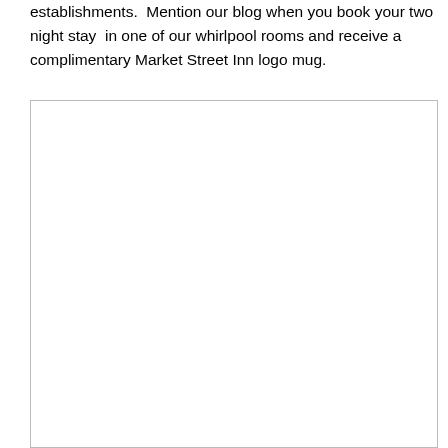establishments.  Mention our blog when you book your two night stay  in one of our whirlpool rooms and receive a complimentary Market Street Inn logo mug.
[Figure (photo): A large white/blank rectangular image placeholder with a thin gray border.]